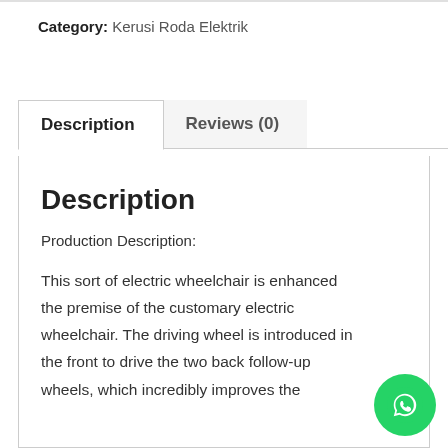Category: Kerusi Roda Elektrik
Description
Reviews (0)
Description
Production Description:
This sort of electric wheelchair is enhanced the premise of the customary electric wheelchair. The driving wheel is introduced in the front to drive the two back follow-up wheels, which incredibly improves the